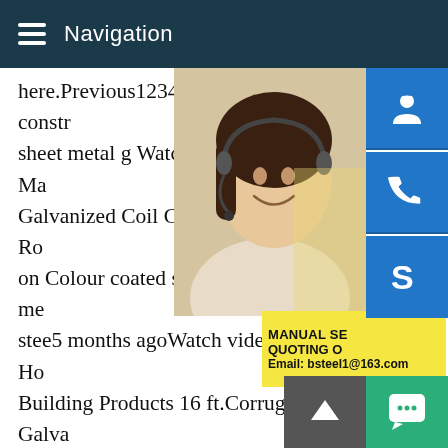Navigation
here.Previous123456NextVideos of construction sheet metal g Watch video on Building Ma Galvanized Coil Corrugated Metal Iron Ro on Colour coated steel coil/sheet/plate me stee5 months agoWatch video on The Ho Building Products 16 ft.Corrugated Galva Home DepotWatch video on The Home De Building Products 16 ft.SM-Rib Galvanize PanThe Home DepotSee more videos of steel coil sheet metal gaugeCoated coil an RyersonAppliance and automotive parts,along with metal buildings and agricultural parts,are among the most common applications for galvalume.Electro-galvanized bonderized These sheets are cold rolled steel sheets zinc coated by electrolytic deposition and conform to A591.If your application will require outdoor exposure,painting is recommended.Related searches for
[Figure (photo): Woman with headset smiling, customer service representative photo]
MANUAL SE QUOTING O Email: bsteel1@163.com